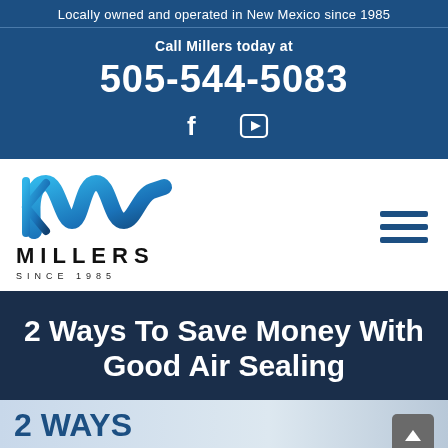Locally owned and operated in New Mexico since 1985
Call Millers today at
505-544-5083
[Figure (logo): Facebook and YouTube social media icons]
[Figure (logo): Millers Since 1985 logo with blue wave mark and hamburger menu icon]
2 Ways To Save Money With Good Air Sealing
2 WAYS TO